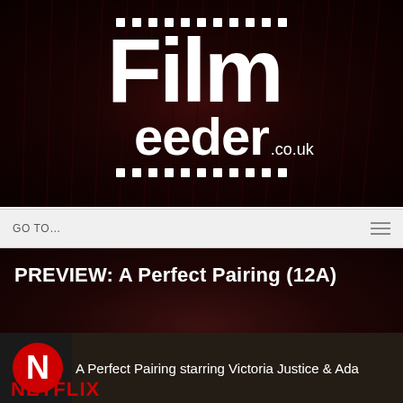[Figure (logo): Film Feeder .co.uk logo — white text on dark red/black background with film strip dots above and below]
GO TO...
PREVIEW: A Perfect Pairing (12A)
[Figure (screenshot): Netflix video thumbnail showing 'A Perfect Pairing starring Victoria Justice & Ada' with Netflix N logo and NETFLIX text]